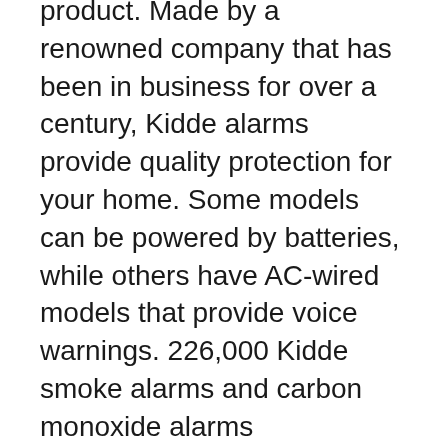product. Made by a renowned company that has been in business for over a century, Kidde alarms provide quality protection for your home. Some models can be powered by batteries, while others have AC-wired models that provide voice warnings. 226,000 Kidde smoke alarms and carbon monoxide alarms manufactured between May 2019 and September 2020 are under recall.
The Kidde COSM-BA is a combination smoke and carbon monoxide alarm that offers two essential safety devices in a single device. The Kidde alarms have a voice warning system that announces the presence of smoke or fire and changes sensitivity to accommodate different types of smoke and CO levels in the air. It also has a